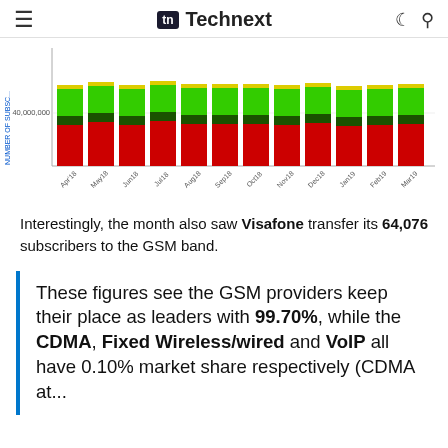Technext
[Figure (stacked-bar-chart): Number of subscribers by month]
Interestingly, the month also saw Visafone transfer its 64,076 subscribers to the GSM band.
These figures see the GSM providers keep their place as leaders with 99.70%, while the CDMA, Fixed Wireless/wired and VoIP all have 0.10% market share respectively (CDMA at...